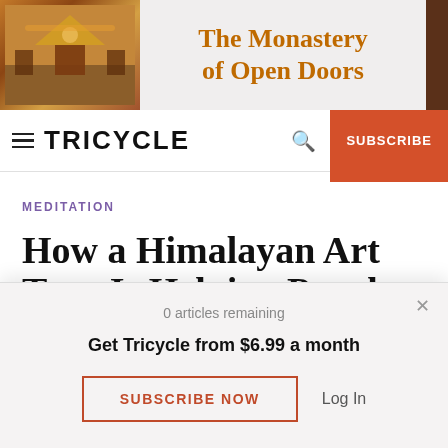[Figure (illustration): Advertisement banner for 'The Monastery of Open Doors' with a decorative temple image on the left and brown sidebar on the right]
TRICYCLE
MEDITATION
How a Himalayan Art Tour Is Helping People with Dementia
0 articles remaining
Get Tricycle from $6.99 a month
SUBSCRIBE NOW
Log In